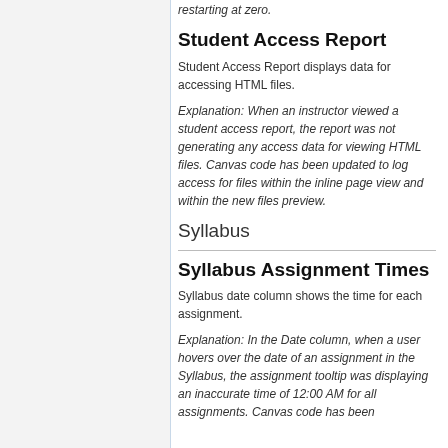restarting at zero.
Student Access Report
Student Access Report displays data for accessing HTML files.
Explanation: When an instructor viewed a student access report, the report was not generating any access data for viewing HTML files. Canvas code has been updated to log access for files within the inline page view and within the new files preview.
Syllabus
Syllabus Assignment Times
Syllabus date column shows the time for each assignment.
Explanation: In the Date column, when a user hovers over the date of an assignment in the Syllabus, the assignment tooltip was displaying an inaccurate time of 12:00 AM for all assignments. Canvas code has been